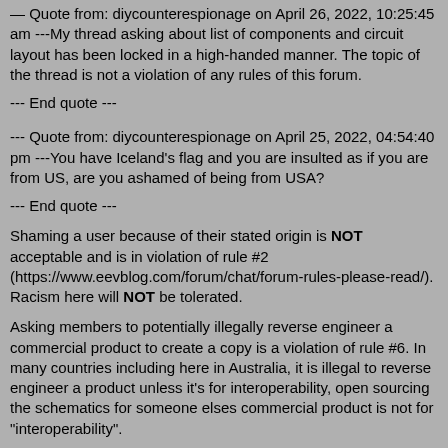— Quote from: diycounterespionage on April 26, 2022, 10:25:45 am ---My thread asking about list of components and circuit layout has been locked in a high-handed manner. The topic of the thread is not a violation of any rules of this forum.
--- End quote ---
--- Quote from: diycounterespionage on April 25, 2022, 04:54:40 pm ---You have Iceland's flag and you are insulted as if you are from US, are you ashamed of being from USA?
--- End quote ---
Shaming a user because of their stated origin is NOT acceptable and is in violation of rule #2 (https://www.eevblog.com/forum/chat/forum-rules-please-read/). Racism here will NOT be tolerated.
Asking members to potentially illegally reverse engineer a commercial product to create a copy is a violation of rule #6. In many countries including here in Australia, it is illegal to reverse engineer a product unless it's for interoperability, open sourcing the schematics for someone elses commercial product is not for "interoperability".